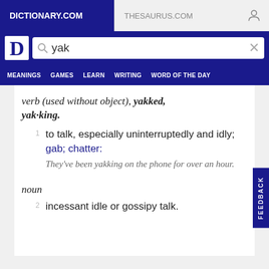DICTIONARY.COM   THESAURUS.COM
[Figure (screenshot): Dictionary.com logo D and search bar with 'yak' typed in]
MEANINGS   GAMES   LEARN   WRITING   WORD OF THE DAY
verb (used without object), yakked, yak·king.
1  to talk, especially uninterruptedly and idly; gab; chatter: They've been yakking on the phone for over an hour.
noun
2  incessant idle or gossipy talk.